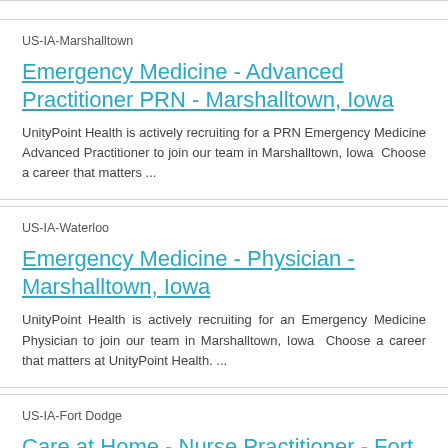US-IA-Marshalltown
Emergency Medicine - Advanced Practitioner PRN - Marshalltown, Iowa
UnityPoint Health is actively recruiting for a PRN Emergency Medicine Advanced Practitioner to join our team in Marshalltown, Iowa  Choose a career that matters ...
US-IA-Waterloo
Emergency Medicine - Physician - Marshalltown, Iowa
UnityPoint Health is actively recruiting for an Emergency Medicine Physician to join our team in Marshalltown, Iowa  Choose a career that matters at UnityPoint Health. ...
US-IA-Fort Dodge
Care at Home - Nurse Practitioner - Fort